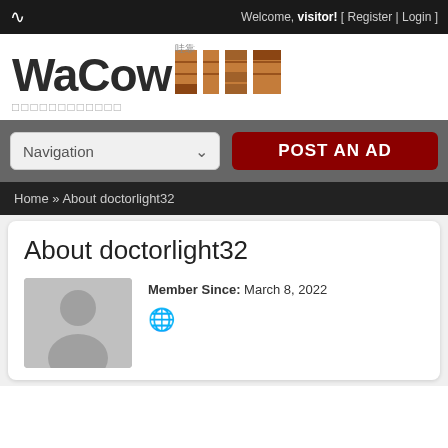Welcome, visitor! [ Register | Login ]
[Figure (logo): WaCow LIST logo with Chinese characters 哇靠 and stylized wood-texture LIST text]
□□□□□□□□□□□□
Navigation  POST AN AD
Home » About doctorlight32
About doctorlight32
[Figure (photo): Default user avatar: gray background with silhouette of person]
Member Since: March 8, 2022
[Figure (illustration): Globe/web icon]